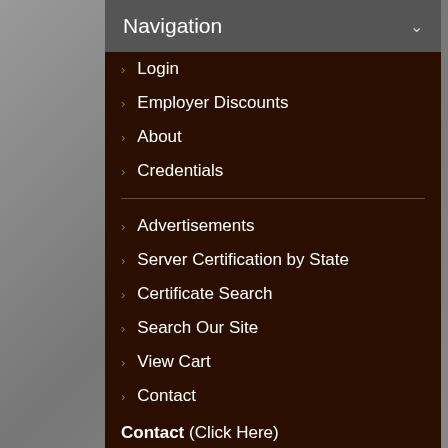Navigation
Login
Employer Discounts
About
Credentials
Advertisements
Server Certification by State
Certificate Search
Search Our Site
View Cart
Contact
Contact (Click Here)
Professional Server Certification Corp. (PSCC)
PO Box 192, Madison, SD 57042